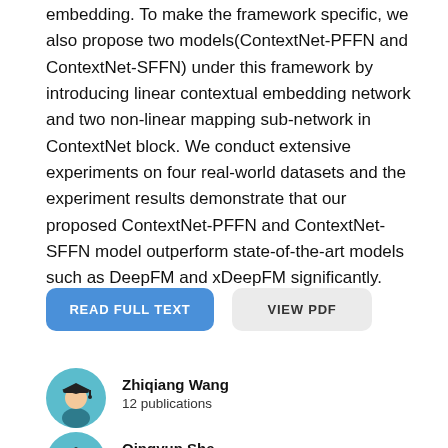embedding. To make the framework specific, we also propose two models(ContextNet-PFFN and ContextNet-SFFN) under this framework by introducing linear contextual embedding network and two non-linear mapping sub-network in ContextNet block. We conduct extensive experiments on four real-world datasets and the experiment results demonstrate that our proposed ContextNet-PFFN and ContextNet-SFFN model outperform state-of-the-art models such as DeepFM and xDeepFM significantly.
[Figure (other): Two buttons: 'READ FULL TEXT' (blue) and 'VIEW PDF' (light gray)]
[Figure (illustration): Author avatar icon for Zhiqiang Wang — teal circle with graduation cap figure]
Zhiqiang Wang
12 publications
[Figure (illustration): Author avatar icon for Qingyun She — teal circle with graduation cap figure]
Qingyun She
6 publications